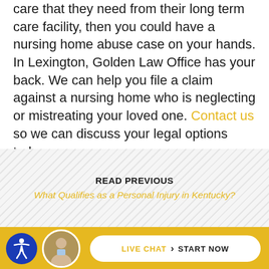care that they need from their long term care facility, then you could have a nursing home abuse case on your hands. In Lexington, Golden Law Office has your back. We can help you file a claim against a nursing home who is neglecting or mistreating your loved one. Contact us so we can discuss your legal options today.
READ PREVIOUS
What Qualifies as a Personal Injury in Kentucky?
LIVE CHAT › START NOW